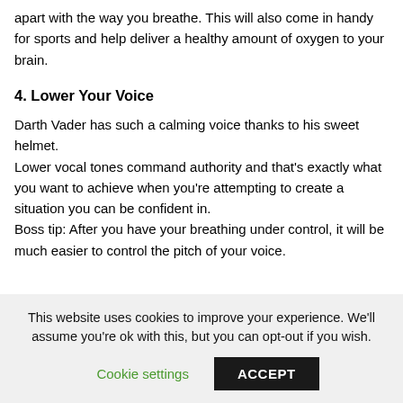apart with the way you breathe. This will also come in handy for sports and help deliver a healthy amount of oxygen to your brain.
4. Lower Your Voice
Darth Vader has such a calming voice thanks to his sweet helmet.
Lower vocal tones command authority and that's exactly what you want to achieve when you're attempting to create a situation you can be confident in.
Boss tip: After you have your breathing under control, it will be much easier to control the pitch of your voice.
This website uses cookies to improve your experience. We'll assume you're ok with this, but you can opt-out if you wish.
Cookie settings
ACCEPT